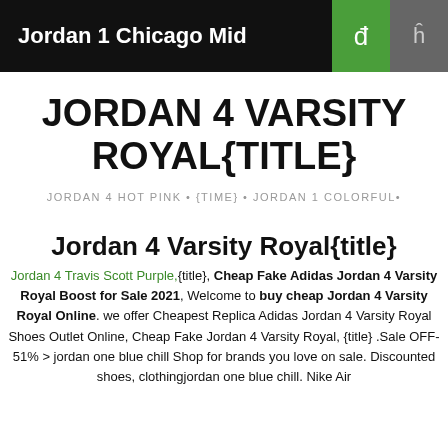Jordan 1 Chicago Mid
JORDAN 4 VARSITY ROYAL{TITLE}
JORDAN 4 HOT PINK • {TIME} • JORDAN 1 COLORFUL•
Jordan 4 Varsity Royal{title}
Jordan 4 Travis Scott Purple,{title}, Cheap Fake Adidas Jordan 4 Varsity Royal Boost for Sale 2021, Welcome to buy cheap Jordan 4 Varsity Royal Online. we offer Cheapest Replica Adidas Jordan 4 Varsity Royal Shoes Outlet Online, Cheap Fake Jordan 4 Varsity Royal, {title} .Sale OFF-51% > jordan one blue chill Shop for brands you love on sale. Discounted shoes, clothingjordan one blue chill. Nike Air